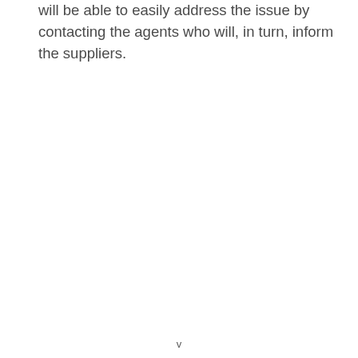will be able to easily address the issue by contacting the agents who will, in turn, inform the suppliers.
v